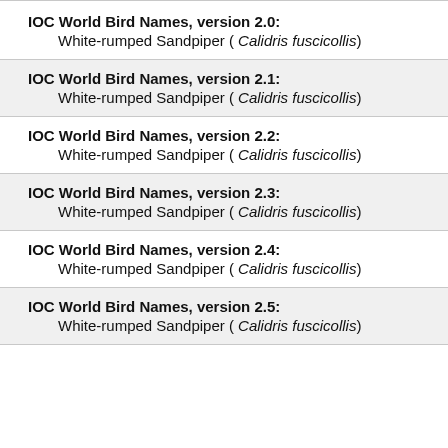IOC World Bird Names, version 2.0: White-rumped Sandpiper ( Calidris fuscicollis)
IOC World Bird Names, version 2.1: White-rumped Sandpiper ( Calidris fuscicollis)
IOC World Bird Names, version 2.2: White-rumped Sandpiper ( Calidris fuscicollis)
IOC World Bird Names, version 2.3: White-rumped Sandpiper ( Calidris fuscicollis)
IOC World Bird Names, version 2.4: White-rumped Sandpiper ( Calidris fuscicollis)
IOC World Bird Names, version 2.5: White-rumped Sandpiper ( Calidris fuscicollis)